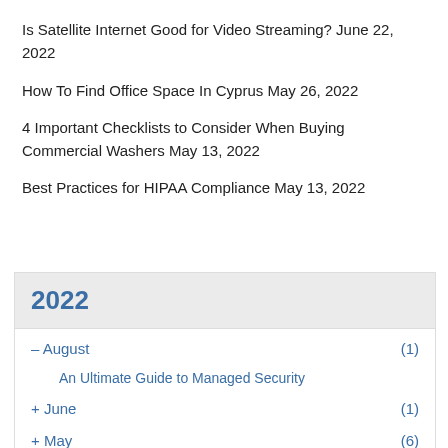Is Satellite Internet Good for Video Streaming? June 22, 2022
How To Find Office Space In Cyprus May 26, 2022
4 Important Checklists to Consider When Buying Commercial Washers May 13, 2022
Best Practices for HIPAA Compliance May 13, 2022
2022
– August (1)
An Ultimate Guide to Managed Security
+ June (1)
+ May (6)
+ March (1)
+ January (5)
2021